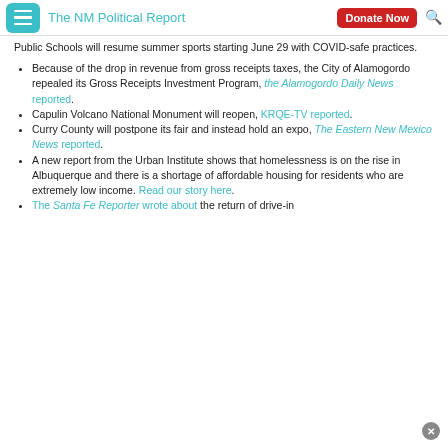The NM Political Report | Donate Now
Public Schools will resume summer sports starting June 29 with COVID-safe practices.
Because of the drop in revenue from gross receipts taxes, the City of Alamogordo repealed its Gross Receipts Investment Program, the Alamogordo Daily News reported.
Capulin Volcano National Monument will reopen, KRQE-TV reported.
Curry County will postpone its fair and instead hold an expo, The Eastern New Mexico News reported.
A new report from the Urban Institute shows that homelessness is on the rise in Albuquerque and there is a shortage of affordable housing for residents who are extremely low income. Read our story here.
The Santa Fe Reporter wrote about the return of drive-in